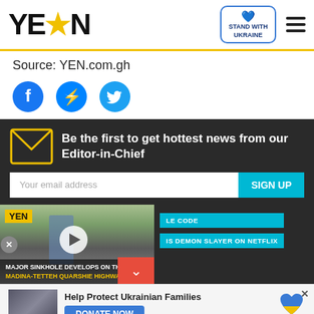YEN — Stand With Ukraine — Menu
Source: YEN.com.gh
[Figure (infographic): Social sharing icons: Facebook, Messenger, Twitter]
Be the first to get hottest news from our Editor-in-Chief
Your email address — SIGN UP
[Figure (screenshot): YEN video thumbnail: Major sinkhole develops on the Madina-Tetteh Quarshie Highway, with play button overlay]
MAJOR SINKHOLE DEVELOPS ON THE MADINA-TETTEH QUARSHIE HIGHWAY
LE CODE   IS DEMON SLAYER ON NETFLIX
[Figure (infographic): Help Protect Ukrainian Families — DONATE NOW banner with Ukraine heart logo]